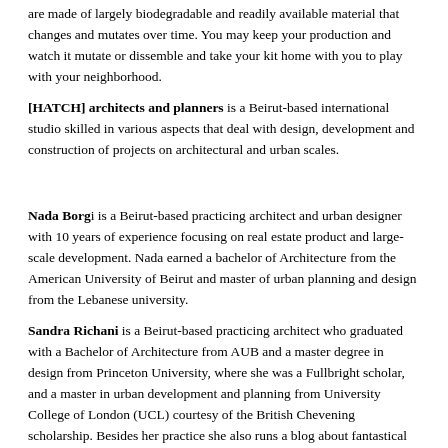are made of largely biodegradable and readily available material that changes and mutates over time. You may keep your production and watch it mutate or dissemble and take your kit home with you to play with your neighborhood.
[HATCH] architects and planners is a Beirut-based international studio skilled in various aspects that deal with design, development and construction of projects on architectural and urban scales.
Nada Borgi is a Beirut-based practicing architect and urban designer with 10 years of experience focusing on real estate product and large-scale development. Nada earned a bachelor of Architecture from the American University of Beirut and master of urban planning and design from the Lebanese university.
Sandra Richani is a Beirut-based practicing architect who graduated with a Bachelor of Architecture from AUB and a master degree in design from Princeton University, where she was a Fullbright scholar, and a master in urban development and planning from University College of London (UCL) courtesy of the British Chevening scholarship. Besides her practice she also runs a blog about fantastical possibilities for Beirut.
Sandra and Nada set up their multidisciplinary design firm [hatch] in 2014. Their projects, on various scales, work on the spaces in between desire, landscape and necessities.